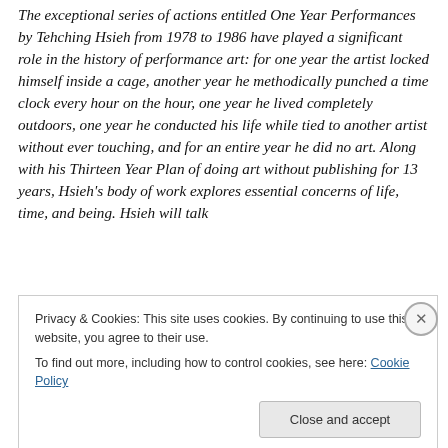The exceptional series of actions entitled One Year Performances by Tehching Hsieh from 1978 to 1986 have played a significant role in the history of performance art: for one year the artist locked himself inside a cage, another year he methodically punched a time clock every hour on the hour, one year he lived completely outdoors, one year he conducted his life while tied to another artist without ever touching, and for an entire year he did no art. Along with his Thirteen Year Plan of doing art without publishing for 13 years, Hsieh's body of work explores essential concerns of life, time, and being. Hsieh will talk
Privacy & Cookies: This site uses cookies. By continuing to use this website, you agree to their use. To find out more, including how to control cookies, see here: Cookie Policy
Close and accept